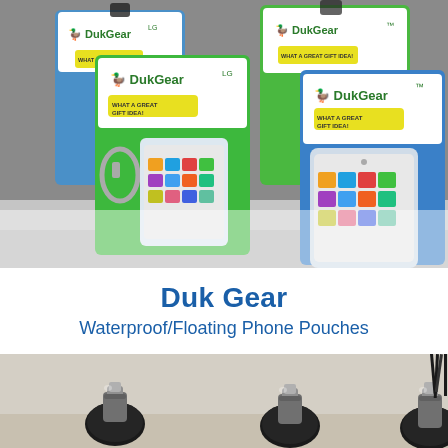[Figure (photo): Photo of multiple DukGear branded waterproof/floating phone pouches in packaging. Green and blue pouches visible with 'DukGear LG' and 'DukGear' logos, yellow 'WHAT A GREAT GIFT IDEA!' stickers, showing smartphones inside clear pouches. Displayed on retail shelving.]
Duk Gear
Waterproof/Floating Phone Pouches
[Figure (photo): Photo of three black rounded objects (possibly small speakers or audio devices) with silver/chrome clip or mount attachments on top, arranged on a light-colored surface.]